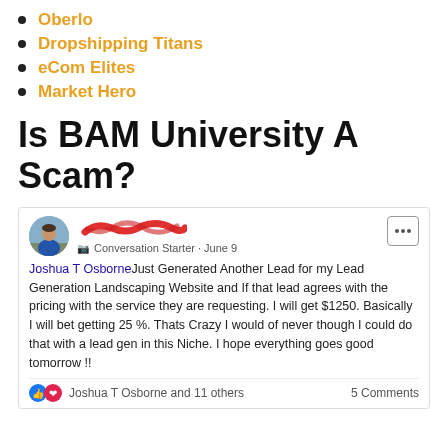Oberlo
Dropshipping Titans
eCom Elites
Market Hero
Is BAM University A Scam?
[Figure (screenshot): Facebook post screenshot showing a user (name redacted) with a 'Conversation Starter' badge dated June 9. Joshua T Osborne posted about generating a lead for his Lead Generation Landscaping Website, potentially earning $1250 (25%). Post has reactions from Joshua T Osborne and 11 others, and 5 Comments.]